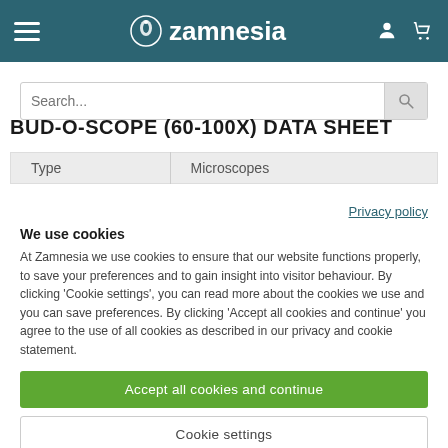Zamnesia
BUD-O-SCOPE (60-100X) DATA SHEET
| Type | Microscopes |
| --- | --- |
Privacy policy
We use cookies
At Zamnesia we use cookies to ensure that our website functions properly, to save your preferences and to gain insight into visitor behaviour. By clicking 'Cookie settings', you can read more about the cookies we use and you can save preferences. By clicking 'Accept all cookies and continue' you agree to the use of all cookies as described in our privacy and cookie statement.
Accept all cookies and continue
Cookie settings